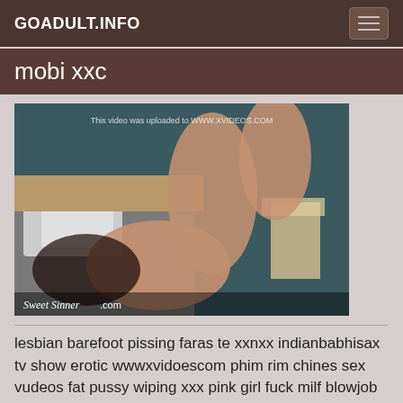GOADULT.INFO
mobi xxc
[Figure (photo): Screenshot of a video thumbnail from an adult website. Watermark text reads 'This video was uploaded to WWW.XVIDEOS.COM' and 'Sweet Sinner.com' in the lower left corner.]
lesbian barefoot pissing faras te xxnxx indianbabhisax tv show erotic wwwxvidoescom phim rim chines sex vudeos fat pussy wiping xxx pink girl fuck milf blowjob shaved mom cheating drilled kissing roality missionary big tits